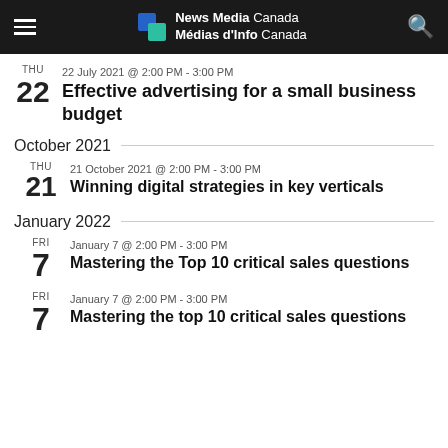News Media Canada / Médias d'Info Canada
THU 22 July 2021 @ 2:00 PM - 3:00 PM
Effective advertising for a small business budget
October 2021
THU 21 October 2021 @ 2:00 PM - 3:00 PM
Winning digital strategies in key verticals
January 2022
FRI January 7 @ 2:00 PM - 3:00 PM
Mastering the Top 10 critical sales questions
FRI January 7 @ 2:00 PM - 3:00 PM
Mastering the top 10 critical sales questions